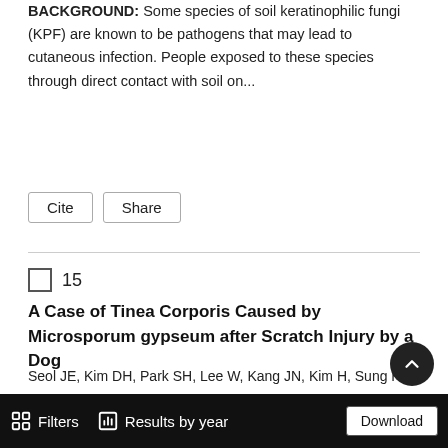BACKGROUND: Some species of soil keratinophilic fungi (KPF) are known to be pathogens that may lead to cutaneous infection. People exposed to these species through direct contact with soil on...
Cite
Share
15
A Case of Tinea Corporis Caused by Microsporum gypseum after Scratch Injury by a Dog
Seol JE, Kim DH, Park SH, Lee W, Kang JN, Kim H, Sung HS
KMID: 2140277    Korean J Med Mycol.  2015 Dec;20(4):109-113.  doi: 10.17966/KJMM.2015.20.4.109
Microsporum(M.) gypseum, a geophilic dermatophyte, causes dermatophytosis that is characterized by rapid development and resolution. M. gypseum infection is rare due to its low infectivity,
Filters   Results by year   Download